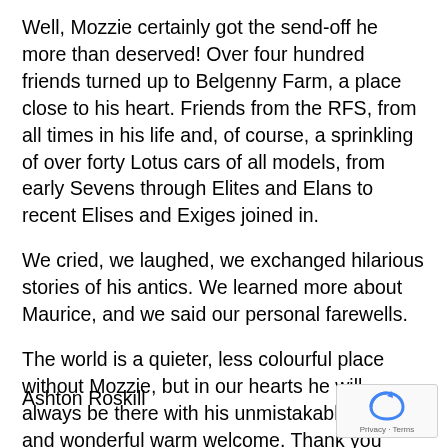Well, Mozzie certainly got the send-off he more than deserved! Over four hundred friends turned up to Belgenny Farm, a place close to his heart. Friends from the RFS, from all times in his life and, of course, a sprinkling of over forty Lotus cars of all models, from early Sevens through Elites and Elans to recent Elises and Exiges joined in.
We cried, we laughed, we exchanged hilarious stories of his antics. We learned more about Maurice, and we said our personal farewells.
The world is a quieter, less colourful place without Mozzie, but in our hearts he will always be there with his unmistakable smile and wonderful warm welcome. Thank you Maurice for everything that you gave us all. God's speed.
Ashton Roskill